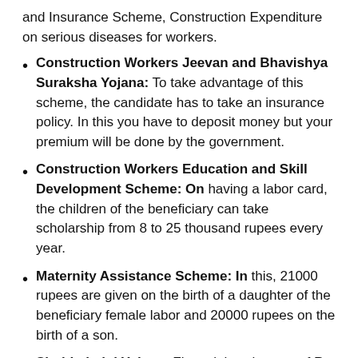and Insurance Scheme, Construction Expenditure on serious diseases for workers.
Construction Workers Jeevan and Bhavishya Suraksha Yojana: To take advantage of this scheme, the candidate has to take an insurance policy. In this you have to deposit money but your premium will be done by the government.
Construction Workers Education and Skill Development Scheme: On having a labor card, the children of the beneficiary can take scholarship from 8 to 25 thousand rupees every year.
Maternity Assistance Scheme: In this, 21000 rupees are given on the birth of a daughter of the beneficiary female labor and 20000 rupees on the birth of a son.
Shubhshakti Yojana: Financial assistance of Rs 55,000 will be provided by the government to the beneficiary...